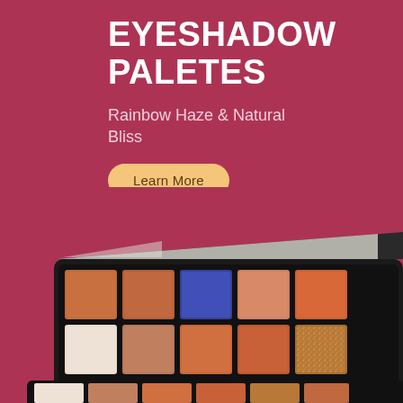EYESHADOW PALETES
Rainbow Haze & Natural Bliss
Learn More
[Figure (photo): An open eyeshadow palette with two rows of color pans including warm browns, oranges, a blue, ivory/cream, and a gold glitter shade, with a mirror visible under the open lid.]